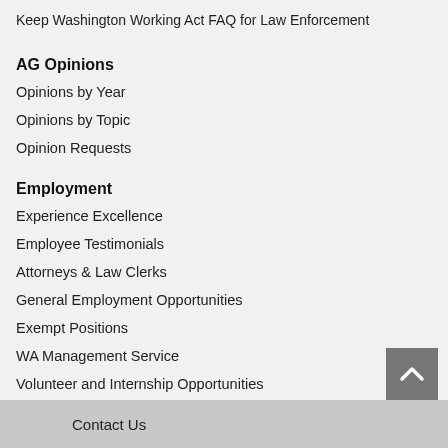Keep Washington Working Act FAQ for Law Enforcement
AG Opinions
Opinions by Year
Opinions by Topic
Opinion Requests
Employment
Experience Excellence
Employee Testimonials
Attorneys & Law Clerks
General Employment Opportunities
Exempt Positions
WA Management Service
Volunteer and Internship Opportunities
Diversity
Office Locations
Contact Us